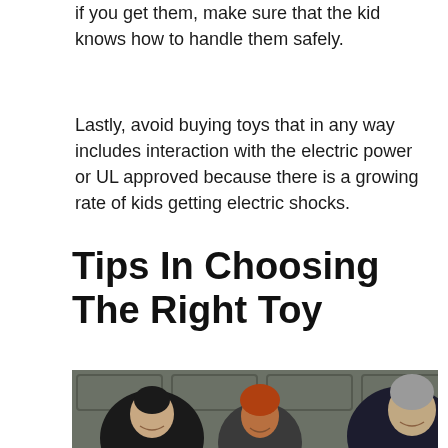if you get them, make sure that the kid knows how to handle them safely.
Lastly, avoid buying toys that in any way includes interaction with the electric power or UL approved because there is a growing rate of kids getting electric shocks.
Tips In Choosing The Right Toy
[Figure (photo): Three men sitting against a grey paneled wall background — a younger dark-haired man on the left, a red-haired younger man in the middle, and an older grey-haired man on the right, all smiling.]